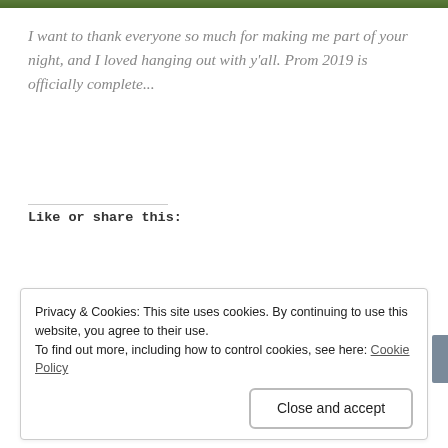[Figure (photo): Green image bar at top of page]
I want to thank everyone so much for making me part of your night, and I loved hanging out with y'all. Prom 2019 is officially complete...
Like or share this:
Like this:
[Figure (screenshot): Like button with star icon followed by a row of avatar thumbnails of people who liked the post]
Privacy & Cookies: This site uses cookies. By continuing to use this website, you agree to their use.
To find out more, including how to control cookies, see here: Cookie Policy
Close and accept